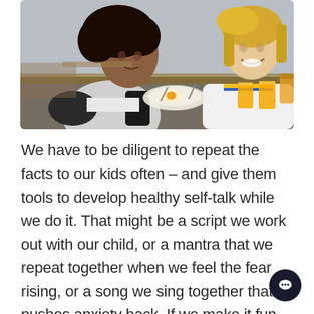[Figure (photo): Two teenage girls sitting at a table eating breakfast together, smiling and laughing. Orange juice glasses and food on the table. Warm, candid setting.]
We have to be diligent to repeat the facts to our kids often – and give them tools to develop healthy self-talk while we do it. That might be a script we work out with our child, or a mantra that we repeat together when we feel the fear rising, or a song we sing together that pushes anxiety back. If we make it fun and we practice frequently, we are setting them up for